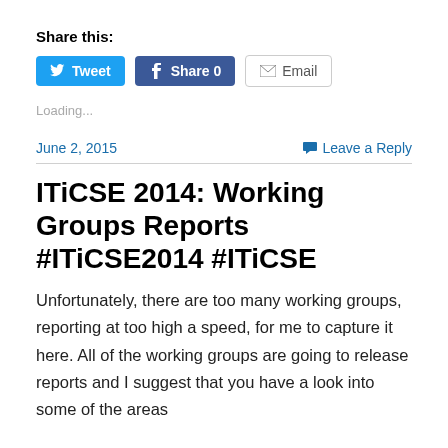Share this:
[Figure (other): Social sharing buttons: Tweet (Twitter), Share 0 (Facebook), Email]
Loading...
June 2, 2015
Leave a Reply
ITiCSE 2014: Working Groups Reports #ITiCSE2014 #ITiCSE
Unfortunately, there are too many working groups, reporting at too high a speed, for me to capture it here. All of the working groups are going to release reports and I suggest that you have a look into some of the areas